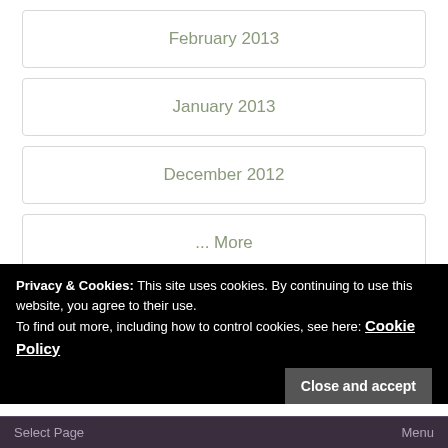February 2013
January 2013
December 2012
... More
Privacy & Cookies: This site uses cookies. By continuing to use this website, you agree to their use. To find out more, including how to control cookies, see here: Cookie Policy
Close and accept
Select Page | Menu